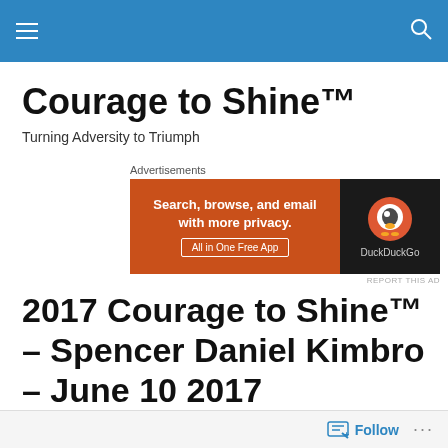Navigation bar with hamburger menu and search icon
Courage to Shine™
Turning Adversity to Triumph
[Figure (other): DuckDuckGo advertisement banner: Search, browse, and email with more privacy. All in One Free App.]
2017 Courage to Shine™ – Spencer Daniel Kimbro – June 10 2017
★★★★★ ⓘ 1 Vote
Follow ···